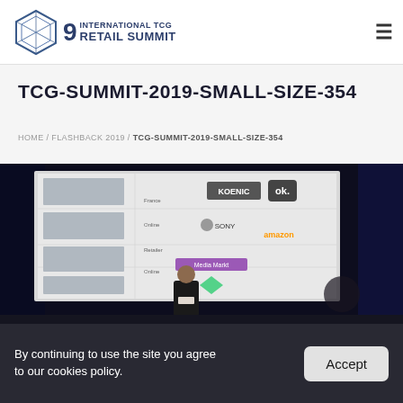9 INTERNATIONAL TCG RETAIL SUMMIT
TCG-SUMMIT-2019-SMALL-SIZE-354
HOME / FLASHBACK 2019 / TCG-SUMMIT-2019-SMALL-SIZE-354
[Figure (photo): A presenter standing in front of a large projection screen showing a retail/brand landscape diagram with logos including KOENIC, ok., Sony, Amazon, and other brands arranged in a structured market map. The setting is a conference stage with dark blue lighting in the background.]
By continuing to use the site you agree to our cookies policy.